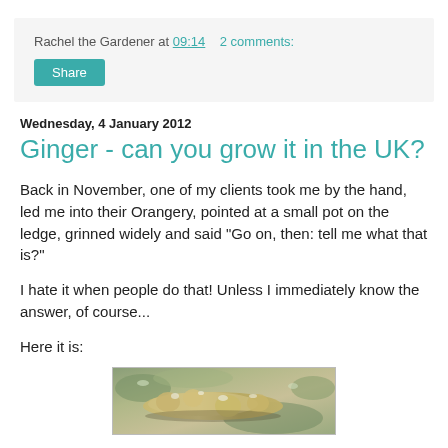Rachel the Gardener at 09:14  2 comments:
Share
Wednesday, 4 January 2012
Ginger - can you grow it in the UK?
Back in November, one of my clients took me by the hand, led me into their Orangery, pointed at a small pot on the ledge, grinned widely and said "Go on, then: tell me what that is?"
I hate it when people do that! Unless I immediately know the answer, of course...
Here it is:
[Figure (photo): Close-up photograph of a ginger rhizome, showing the knobbly root with a greenish-brown and beige mottled texture.]